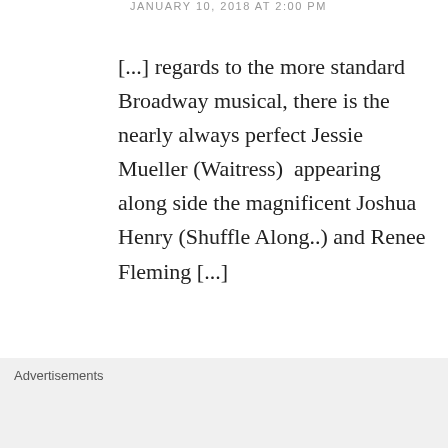JANUARY 10, 2018 AT 2:00 PM
[...] regards to the more standard Broadway musical, there is the nearly always perfect Jessie Mueller (Waitress)  appearing along side the magnificent Joshua Henry (Shuffle Along..) and Renee Fleming [...]
★ Like
REPLY
[Figure (illustration): Circular avatar with dark navy background showing text 'ront mezz junkies' with a green dot, partially visible]
Jericho: The Non-Singing Soprano and...